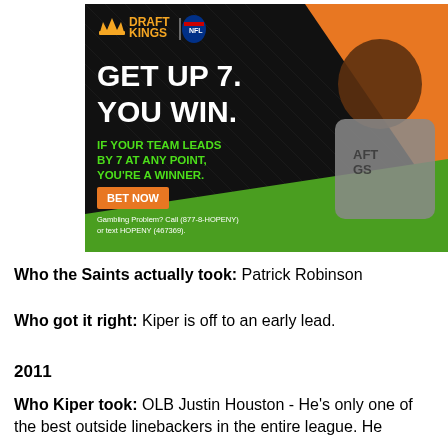[Figure (photo): DraftKings NFL advertisement featuring a smiling man in a DraftKings t-shirt pointing, with text: GET UP 7. YOU WIN. IF YOUR TEAM LEADS BY 7 AT ANY POINT, YOU'RE A WINNER. BET NOW button. Gambling Problem? Call (877-8-HOPENY) or text HOPENY (467369).]
Who the Saints actually took: Patrick Robinson
Who got it right: Kiper is off to an early lead.
2011
Who Kiper took: OLB Justin Houston - He's only one of the best outside linebackers in the entire league. He